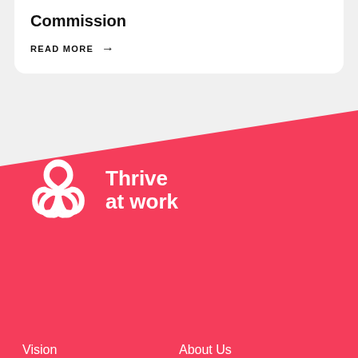Commission
READ MORE →
[Figure (logo): Thrive at work logo — white interlocking clover/ribbon shapes with text 'Thrive at work']
Vision
Framework
Implement
Resources
About Us
Collaborate
Case Studies
Contact